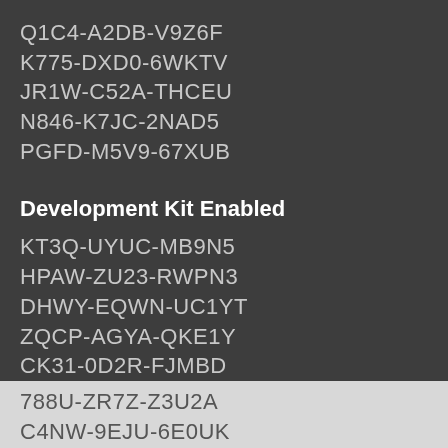Q1C4-A2DB-V9Z6F
K775-DXD0-6WKTV
JR1W-C52A-THCEU
N846-K7JC-2NAD5
PGFD-M5V9-67XUB
Development Kit Enabled
KT3Q-UYUC-MB9N5
HPAW-ZU23-RWPN3
DHWY-EQWN-UC1YT
ZQCP-AGYA-QKE1Y
CK31-0D2R-FJMBD
788U-ZR7Z-Z3U2A
C4NW-9EJU-6E0UK
VRNB-FRRF-VVXZR